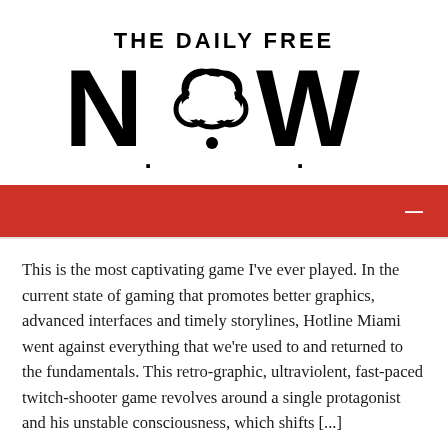[Figure (logo): The Daily Free NOW logo with large bold text. 'THE DAILY FREE' on top, then 'N.OW' in large letters with a thought-bubble cloud shape replacing the 'O'.]
[Figure (other): Red navigation bar with white hamburger/dash menu icon on the right side.]
This is the most captivating game I've ever played. In the current state of gaming that promotes better graphics, advanced interfaces and timely storylines, Hotline Miami went against everything that we're used to and returned to the fundamentals. This retro-graphic, ultraviolent, fast-paced twitch-shooter game revolves around a single protagonist and his unstable consciousness, which shifts [...]
READ MORE →